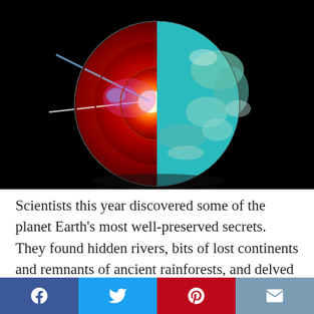[Figure (illustration): 3D cross-section illustration of planet Earth on a black background, showing the internal layers: outer teal/green crust, dark red mantle, bright red/orange inner mantle, and a glowing yellow-white core with purple/pink light rays emanating from the center.]
Scientists this year discovered some of the planet Earth's most well-preserved secrets. They found hidden rivers, bits of lost continents and remnants of ancient rainforests, and delved into the ancient
[Figure (infographic): Social media sharing bar with four buttons: Facebook (blue), Twitter (light blue), Pinterest (red), Email (grayish blue)]